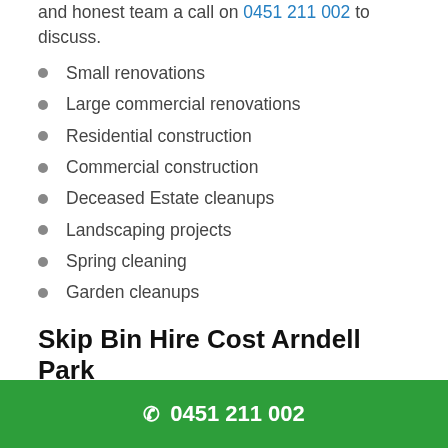and honest team a call on 0451 211 002 to discuss.
Small renovations
Large commercial renovations
Residential construction
Commercial construction
Deceased Estate cleanups
Landscaping projects
Spring cleaning
Garden cleanups
Skip Bin Hire Cost Arndell Park
If you're wondering what a skip bin hire cost in Arndell Park is, you can give our friendly team a call on 0451 211 002 for a free quote. We offer the best
0451 211 002